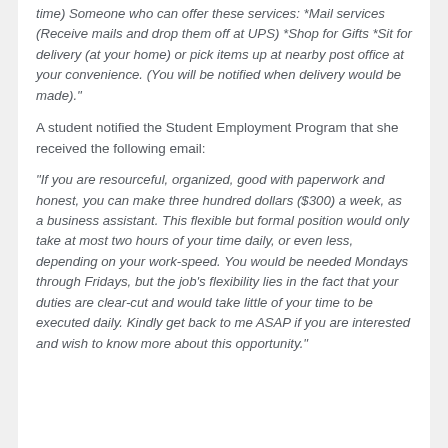time) Someone who can offer these services: *Mail services (Receive mails and drop them off at UPS) *Shop for Gifts *Sit for delivery (at your home) or pick items up at nearby post office at your convenience. (You will be notified when delivery would be made)."
A student notified the Student Employment Program that she received the following email:
“If you are resourceful, organized, good with paperwork and honest, you can make three hundred dollars ($300) a week, as a business assistant. This flexible but formal position would only take at most two hours of your time daily, or even less, depending on your work-speed. You would be needed Mondays through Fridays, but the job’s flexibility lies in the fact that your duties are clear-cut and would take little of your time to be executed daily. Kindly get back to me ASAP if you are interested and wish to know more about this opportunity."